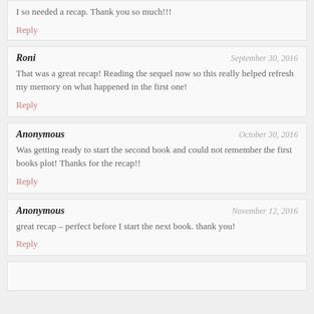I so needed a recap. Thank you so much!!!
Reply
Roni — September 30, 2016
That was a great recap! Reading the sequel now so this really helped refresh my memory on what happened in the first one!
Reply
Anonymous — October 30, 2016
Was getting ready to start the second book and could not remember the first books plot! Thanks for the recap!!
Reply
Anonymous — November 12, 2016
great recap – perfect before I start the next book. thank you!
Reply